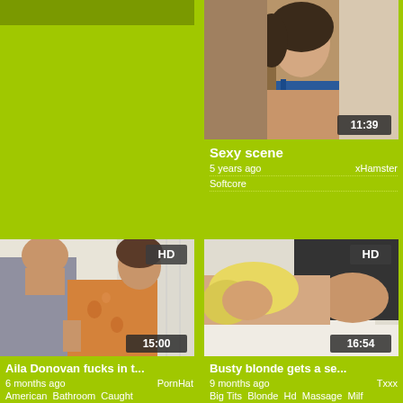[Figure (screenshot): Blank lime-green ad placeholder (top-left card)]
[Figure (photo): Romantic couple close together, woman in blue bra, duration badge 11:39. Title: Sexy scene. 5 years ago, xHamster. Tag: Softcore]
Sexy scene
5 years ago	xHamster
Softcore
[Figure (photo): Man and woman in a room, HD badge, duration 15:00. Title: Aila Donovan fucks in t... 6 months ago, PornHat. Tags: American Bathroom Caught]
Aila Donovan fucks in t...
6 months ago	PornHat
American  Bathroom  Caught
[Figure (photo): Blonde woman lying down receiving massage, HD badge, duration 16:54. Title: Busty blonde gets a se... 9 months ago, Txxx. Tags: Big Tits Blonde Hd Massage Milf]
Busty blonde gets a se...
9 months ago	Txxx
Big Tits  Blonde  Hd  Massage  Milf